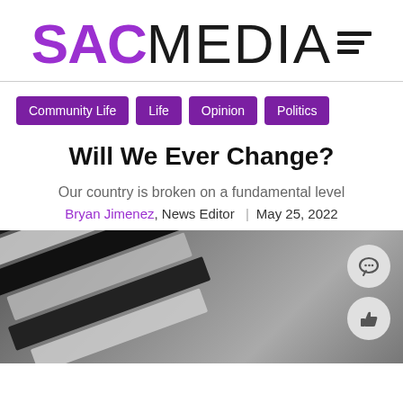SAC MEDIA
Community Life
Life
Opinion
Politics
Will We Ever Change?
Our country is broken on a fundamental level
Bryan Jimenez, News Editor | May 25, 2022
[Figure (photo): Black and white photograph of folded or layered fabric with stripes, resembling a flag, shot against a gray background. Two circular reaction buttons (comment and like) are overlaid on the right side of the image.]